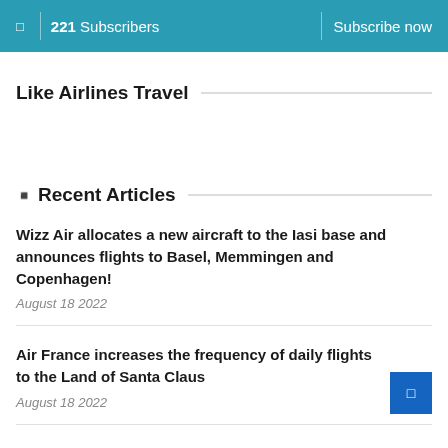221 Subscribers | Subscribe now
Like Airlines Travel
Recent Articles
Wizz Air allocates a new aircraft to the Iasi base and announces flights to Basel, Memmingen and Copenhagen! — August 18 2022
Air France increases the frequency of daily flights to the Land of Santa Claus — August 18 2022